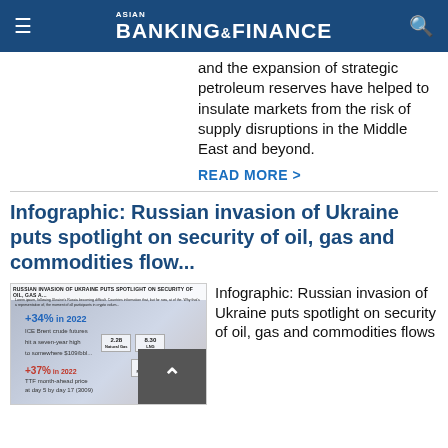ASIAN BANKING & FINANCE
and the expansion of strategic petroleum reserves have helped to insulate markets from the risk of supply disruptions in the Middle East and beyond.
READ MORE >
Infographic: Russian invasion of Ukraine puts spotlight on security of oil, gas and commodities flow...
[Figure (infographic): Infographic thumbnail showing Russian invasion of Ukraine puts spotlight on security of oil, gas and commodities. Shows +34% in 2022 ICE Brent crude futures, +37% in 2022 TTF month-ahead price statistics, and a world map with commodity flow data.]
Infographic: Russian invasion of Ukraine puts spotlight on security of oil, gas and commodities flows